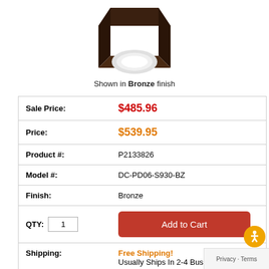[Figure (photo): Product photo of a square bronze ceiling light fixture with a round white diffuser, shown from below at an angle]
Shown in Bronze finish
| Sale Price: | $485.96 |
| Price: | $539.95 |
| Product #: | P2133826 |
| Model #: | DC-PD06-S930-BZ |
| Finish: | Bronze |
| QTY:  1 | Add to Cart |
| Shipping: | Free Shipping!
Usually Ships In 2-4 Business Days |
| Dimensions: | 5.5"w x 9.5"h |